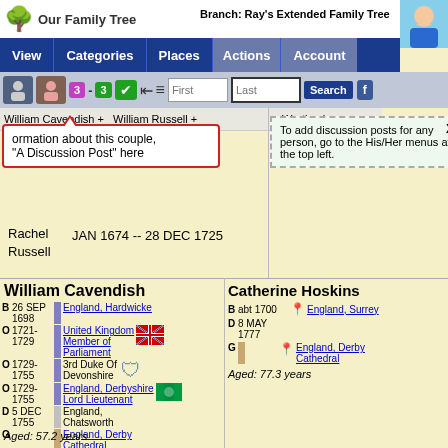Our Family Tree | Branch: Ray's Extended Family Tree
View | Categories | Places | Actions | Account
William Cavendish + William Russell + Wrothesley 29
ormation about this couple, "A Discussion Post" here
To add discussion posts for any person, go to the His/Her menus at the top left.
Rachel Russell   JAN 1674 -- 28 DEC 1725
William Cavendish
B 26 SEP 1698   England, Hardwicke
O 1721-1729   United Kingdom Member of Parliament
O 1729-1755   3rd Duke Of Devonshire
O 1729-1755   England, Derbyshire Lord Lieutenant
D 5 DEC 1755   England, Chatsworth
G   England, Derby Cathedral
Aged: 57.2 years
Catherine Hoskins
B abt 1700   England, Surrey
D 8 MAY 1777
G   England, Derby Cathedral
Aged: 77.3 years